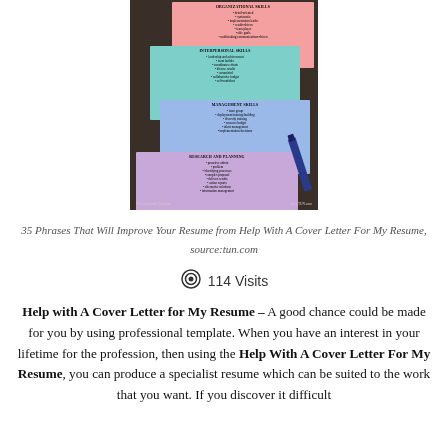[Figure (photo): A dark board with colorful sticky notes labeled Organizational Skills (pink), Interpersonal Skills (teal), Management Skills (blue), and Research and Planning (lavender), with a blue pen/marker resting across them. Watermarks from The University Network and tun.com visible.]
35 Phrases That Will Improve Your Resume from Help With A Cover Letter For My Resume, source:tun.com
👁 114 Visits
Help with A Cover Letter for My Resume – A good chance could be made for you by using professional template. When you have an interest in your lifetime for the profession, then using the Help With A Cover Letter For My Resume, you can produce a specialist resume which can be suited to the work that you want. If you discover it difficult